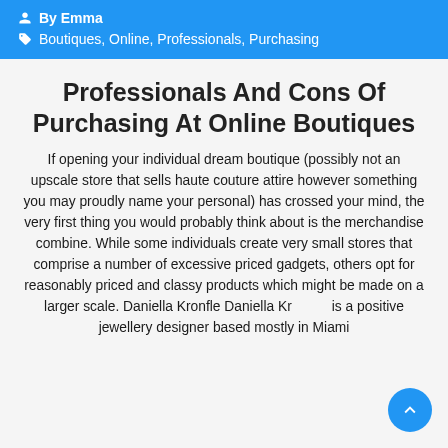By Emma
Boutiques, Online, Professionals, Purchasing
Professionals And Cons Of Purchasing At Online Boutiques
If opening your individual dream boutique (possibly not an upscale store that sells haute couture attire however something you may proudly name your personal) has crossed your mind, the very first thing you would probably think about is the merchandise combine. While some individuals create very small stores that comprise a number of excessive priced gadgets, others opt for reasonably priced and classy products which might be made on a larger scale. Daniella Kronfle Daniella Kronfle is a positive jewellery designer based mostly in Miami